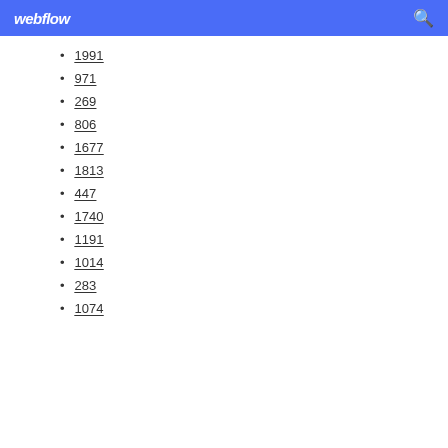webflow
1991
971
269
806
1677
1813
447
1740
1191
1014
283
1074